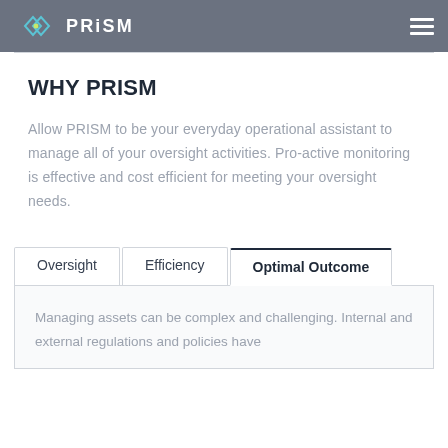PRISM
WHY PRISM
Allow PRISM to be your everyday operational assistant to manage all of your oversight activities. Pro-active monitoring is effective and cost efficient for meeting your oversight needs.
Tabs: Oversight | Efficiency | Optimal Outcome (active)
Managing assets can be complex and challenging. Internal and external regulations and policies have